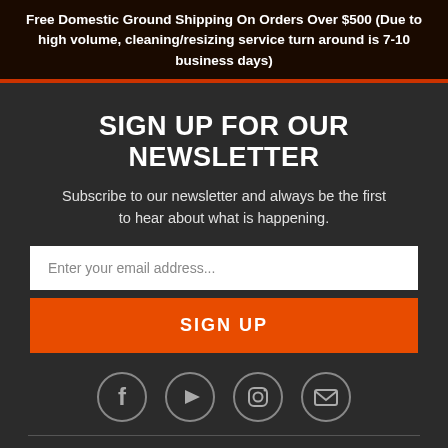Free Domestic Ground Shipping On Orders Over $500 (Due to high volume, cleaning/resizing service turn around is 7-10 business days)
SIGN UP FOR OUR NEWSLETTER
Subscribe to our newsletter and always be the first to hear about what is happening.
[Figure (other): Email input field with placeholder text 'Enter your email address...']
[Figure (other): Orange SIGN UP button]
[Figure (other): Social media icons: Facebook, YouTube, Instagram, Email/Envelope in circular outlines]
Home
Search